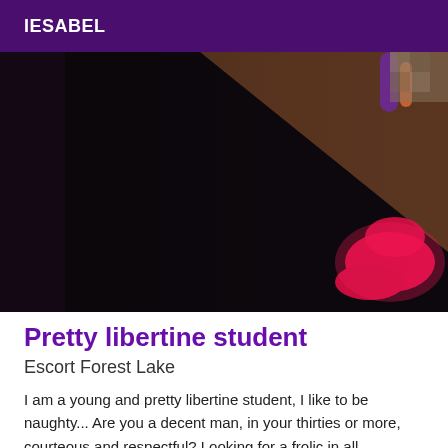IESABEL
[Figure (photo): A person photographed from above showing dark clothing, a diagonal dark surface, and bright pink/red sneakers visible in the right portion of the image. Purple-painted fingernails visible at top. Dark, moody lighting.]
Pretty libertine student
Escort Forest Lake
I am a young and pretty libertine student, I like to be naughty... Are you a decent man, in your thirties or more, courteous and respectful? Looking for a frolic in all